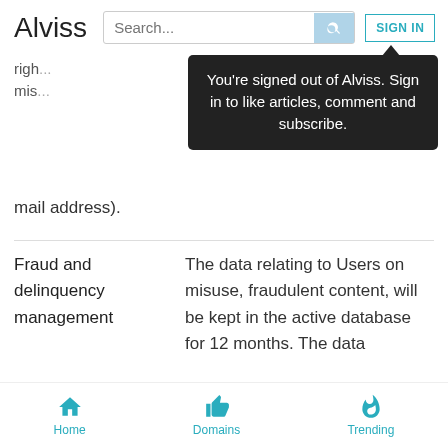Alviss
[Figure (screenshot): Tooltip bubble: 'You're signed out of Alviss. Sign in to like articles, comment and subscribe.']
mail address).
Fraud and delinquency management
The data relating to Users on misuse, fraudulent content, will be kept in the active database for 12 months. The data
Home   Domains   Trending